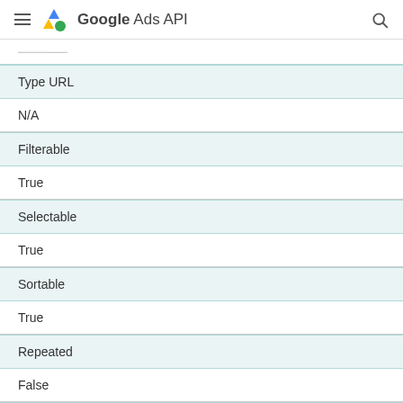Google Ads API
Type URL
N/A
Filterable
True
Selectable
True
Sortable
True
Repeated
False
metrics.message_chats